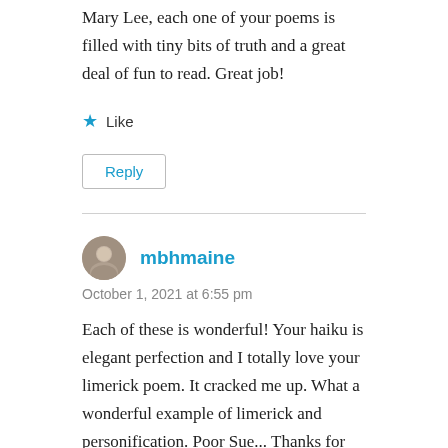Mary Lee, each one of your poems is filled with tiny bits of truth and a great deal of fun to read. Great job!
★ Like
Reply
mbhmaine
October 1, 2021 at 6:55 pm
Each of these is wonderful! Your haiku is elegant perfection and I totally love your limerick poem. It cracked me up. What a wonderful example of limerick and personification. Poor Sue... Thanks for the fun